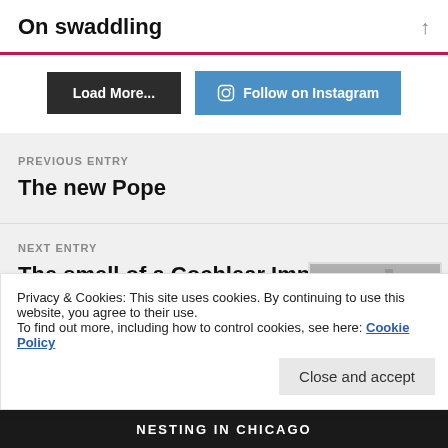On swaddling
Load More...
Follow on Instagram
PREVIOUS ENTRY
The new Pope
NEXT ENTRY
The smell of a Cochlear Implant
[Figure (photo): Black and white photo showing a person with equipment in background]
Privacy & Cookies: This site uses cookies. By continuing to use this website, you agree to their use.
To find out more, including how to control cookies, see here: Cookie Policy
Close and accept
NESTING IN CHICAGO